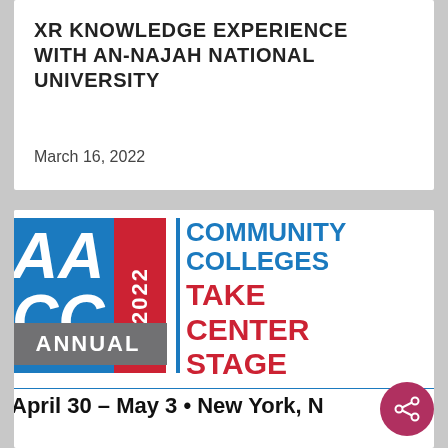XR KNOWLEDGE EXPERIENCE WITH AN-NAJAH NATIONAL UNIVERSITY
March 16, 2022
[Figure (logo): AACC 2022 Annual Conference logo with text: Community Colleges Take Center Stage. April 30 – May 3 • New York, NY]